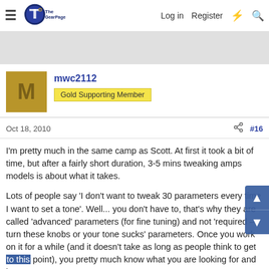The Gear Page — Log in  Register
[Figure (other): Gray advertisement banner area]
mwc2112
Gold Supporting Member
Oct 18, 2010   #16
I'm pretty much in the same camp as Scott. At first it took a bit of time, but after a fairly short duration, 3-5 mins tweaking amps models is about what it takes.

Lots of people say 'I don't want to tweak 30 parameters every time I want to set a tone'. Well... you don't have to, that's why they are called 'advanced' parameters (for fine tuning) and not 'required – turn these knobs or your tone sucks' parameters. Once you work on it for a while (and it doesn't take as long as people think to get to this point), you pretty much know what you are looking for and how to get it...